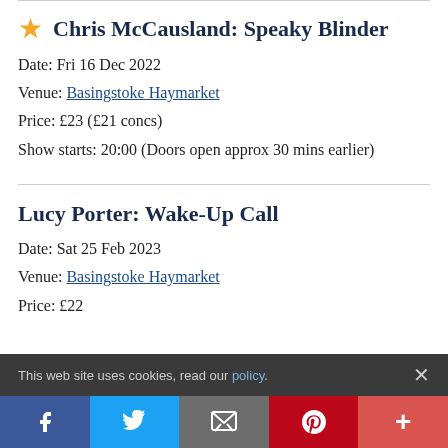★ Chris McCausland: Speaky Blinder
Date: Fri 16 Dec 2022
Venue: Basingstoke Haymarket
Price: £23 (£21 concs)
Show starts: 20:00 (Doors open approx 30 mins earlier)
Lucy Porter: Wake-Up Call
Date: Sat 25 Feb 2023
Venue: Basingstoke Haymarket
Price: £22
This web site uses cookies, read our policy.